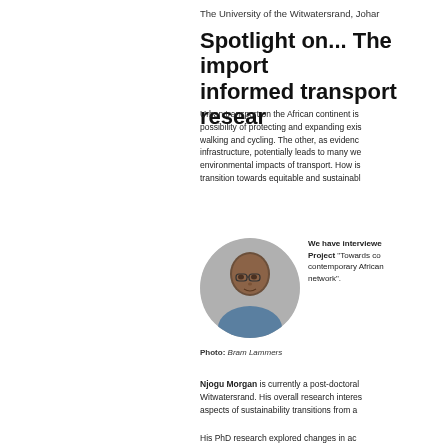The University of the Witwatersrand, Johar
Spotlight on... The import informed transport resear
Urban transport on the African continent is possibility of protecting and expanding exis walking and cycling. The other, as evidenc infrastructure, potentially leads to many we environmental impacts of transport. How is transition towards equitable and sustainabl
[Figure (photo): Portrait photo of Njogu Morgan, a man wearing glasses, in an oval/circular crop]
We have interviewe Project "Towards co contemporary African network".
Photo: Bram Lammers
Njogu Morgan is currently a post-doctoral Witwatersrand. His overall research interes aspects of sustainability transitions from a
His PhD research explored changes in ac